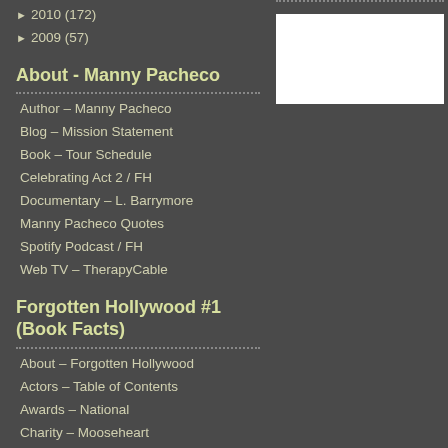► 2010 (172)
► 2009 (57)
About - Manny Pacheco
Author – Manny Pacheco
Blog – Mission Statement
Book – Tour Schedule
Celebrating Act 2 / FH
Documentary – L. Barrymore
Manny Pacheco Quotes
Spotify Podcast / FH
Web TV – TherapyCable
Forgotten Hollywood #1 (Book Facts)
About – Forgotten Hollywood
Actors – Table of Contents
Awards – National
Charity – Mooseheart
Noted Readers and Locales
Forgotten Hollywood #1 (Book Sellers)
Book – IndieBound
Leave a Reply
You must be logged in to post